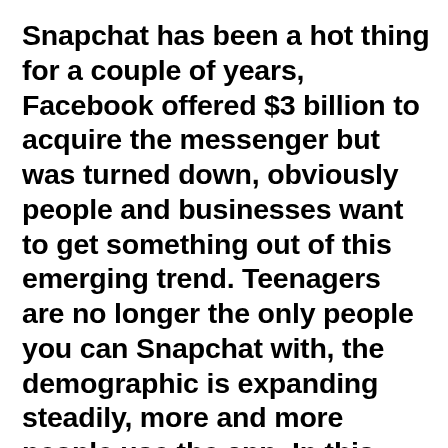Snapchat has been a hot thing for a couple of years, Facebook offered $3 billion to acquire the messenger but was turned down, obviously people and businesses want to get something out of this emerging trend. Teenagers are no longer the only people you can Snapchat with, the demographic is expanding steadily, more and more people use the app. In this blog post I'll share three the most powerful tips on how to create quality content in Snapchat. So, here's the Snapchat's